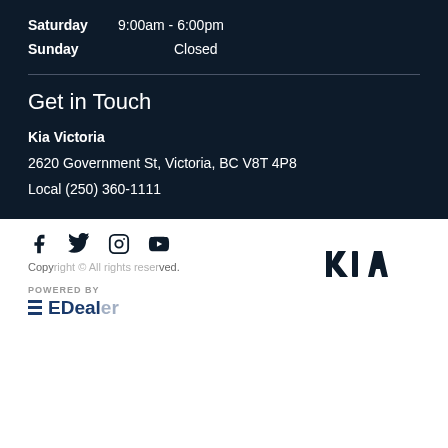Saturday   9:00am - 6:00pm
Sunday   Closed
Get in Touch
Kia Victoria
2620 Government St, Victoria, BC V8T 4P8
Local  (250) 360-1111
[Figure (screenshot): Social media icons: Facebook, Twitter, Instagram, YouTube; Kia logo top right]
Copy... ved.
POWERED BY
EDealers
[Figure (screenshot): Online chat widget overlay with avatar, Online status, TEXT and CHAT buttons]